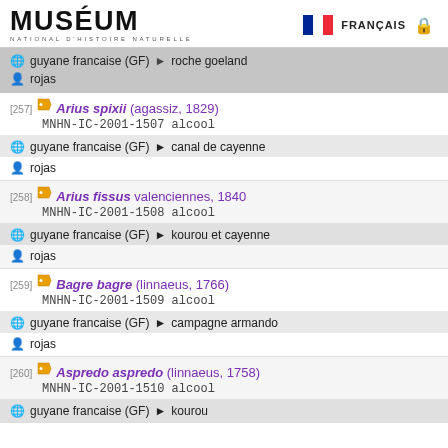MUSÉUM NATIONAL D'HISTOIRE NATURELLE | FRANÇAIS
[257] Arius spixii (agassiz, 1829) MNHN-IC-2001-1507 alcool | guyane francaise (GF) > canal de cayenne | rojas
[258] Arius fissus valenciennes, 1840 MNHN-IC-2001-1508 alcool | guyane francaise (GF) > kourou et cayenne | rojas
[259] Bagre bagre (linnaeus, 1766) MNHN-IC-2001-1509 alcool | guyane francaise (GF) > campagne armando | rojas
[260] Aspredo aspredo (linnaeus, 1758) MNHN-IC-2001-1510 alcool | guyane francaise (GF) > kourou